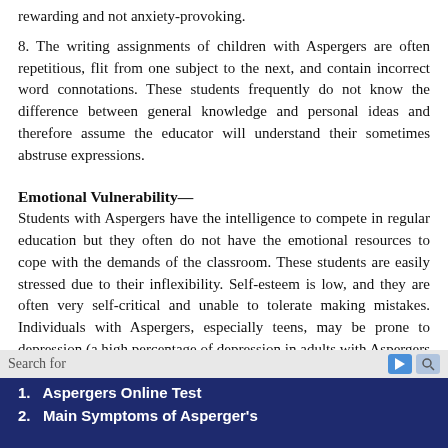rewarding and not anxiety-provoking.
8. The writing assignments of children with Aspergers are often repetitious, flit from one subject to the next, and contain incorrect word connotations. These students frequently do not know the difference between general knowledge and personal ideas and therefore assume the educator will understand their sometimes abstruse expressions.
Emotional Vulnerability—
Students with Aspergers have the intelligence to compete in regular education but they often do not have the emotional resources to cope with the demands of the classroom. These students are easily stressed due to their inflexibility. Self-esteem is low, and they are often very self-critical and unable to tolerate making mistakes. Individuals with Aspergers, especially teens, may be prone to depression (a high percentage of depression in adults with Aspergers has been documented). Rage reactions/temper outbursts
Search for
1. Aspergers Online Test
2. Main Symptoms of Asperger's